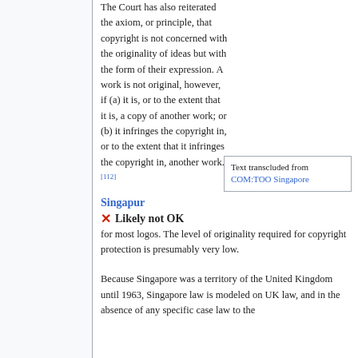The Court has also reiterated the axiom, or principle, that copyright is not concerned with the originality of ideas but with the form of their expression. A work is not original, however, if (a) it is, or to the extent that it is, a copy of another work; or (b) it infringes the copyright in, or to the extent that it infringes the copyright in, another work.[112]
Singapur
Text transcluded from COM:TOO Singapore
✗ Likely not OK for most logos. The level of originality required for copyright protection is presumably very low.
Because Singapore was a territory of the United Kingdom until 1963, Singapore law is modeled on UK law, and in the absence of any specific case law to the